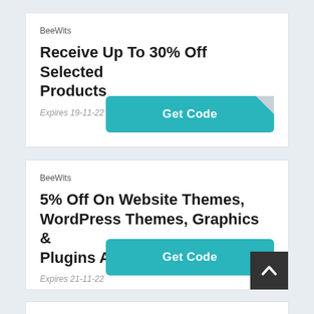BeeWits
Receive Up To 30% Off Selected Products
Expires 19-11-22
[Figure (other): Teal 'Get Code' button with folded corner]
BeeWits
5% Off On Website Themes, WordPress Themes, Graphics & Plugins At Template Monster
Expires 21-11-22
[Figure (other): Teal 'Get Code' button with dark back-to-top arrow overlay]
BeeWits